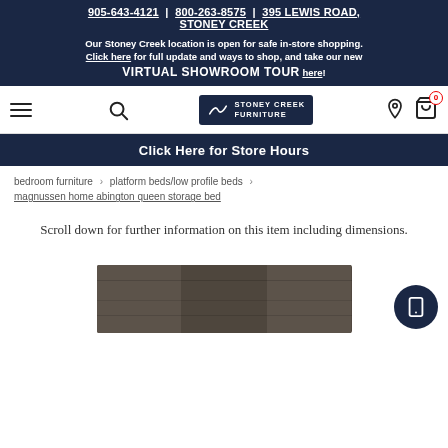905-643-4121 | 800-263-8575 | 395 LEWIS ROAD, STONEY CREEK
Our Stoney Creek location is open for safe in-store shopping. Click here for full update and ways to shop, and take our new VIRTUAL SHOWROOM TOUR here!
[Figure (logo): Stoney Creek Furniture logo with hamburger menu, search icon, location pin, and cart icon navigation bar]
Click Here for Store Hours
bedroom furniture › platform beds/low profile beds › magnussen home abington queen storage bed
Scroll down for further information on this item including dimensions.
[Figure (photo): Partial view of a dark wood headboard panel for Magnussen Home Abington Queen Storage Bed]